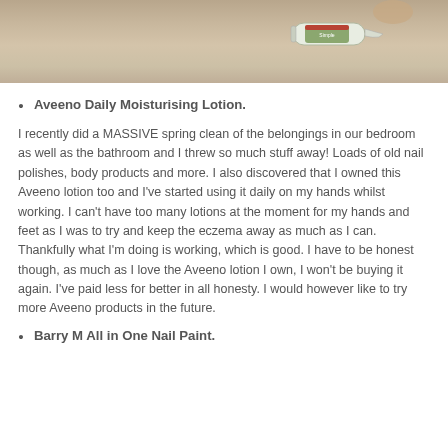[Figure (photo): Photo of a Simple brand skincare tube/cream product held on a light beige fabric background]
Aveeno Daily Moisturising Lotion.
I recently did a MASSIVE spring clean of the belongings in our bedroom as well as the bathroom and I threw so much stuff away! Loads of old nail polishes, body products and more. I also discovered that I owned this Aveeno lotion too and I've started using it daily on my hands whilst working. I can't have too many lotions at the moment for my hands and feet as I was to try and keep the eczema away as much as I can. Thankfully what I'm doing is working, which is good. I have to be honest though, as much as I love the Aveeno lotion I own, I won't be buying it again. I've paid less for better in all honesty. I would however like to try more Aveeno products in the future.
Barry M All in One Nail Paint.